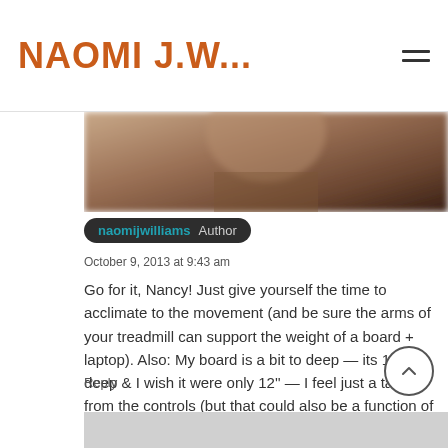NAOMI J.W...
[Figure (photo): Partial photo strip showing a blurred person's face/hair in warm brown tones]
naomijwilliams  Author
October 9, 2013 at 9:43 am
Go for it, Nancy! Just give yourself the time to acclimate to the movement (and be sure the arms of your treadmill can support the weight of a board + laptop). Also: My board is a bit to deep — its 15'' deep & I wish it were only 12'' — I feel just a tad far from the controls (but that could also be a function of my diminutive height & arm length!).
Reply